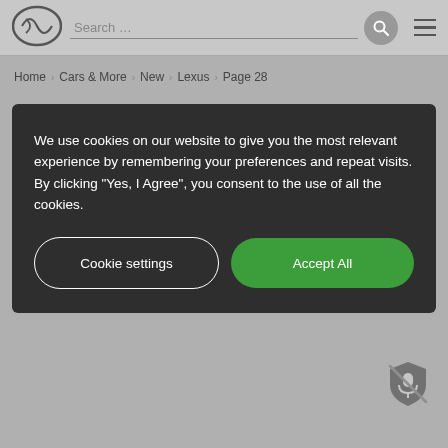[Figure (logo): Lexus oval logo in top-left header]
Search …
Home > Cars & More > New > Lexus > Page 28
We use cookies on our website to give you the most relevant experience by remembering your preferences and repeat visits. By clicking "Yes, I Agree", you consent to the use of all the cookies.
Cookie settings
Accept All
[Figure (illustration): Crossed-out shield/privacy icon in bottom right corner]